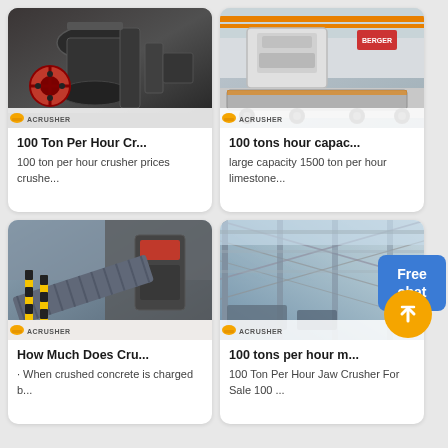[Figure (photo): Cone crusher machinery in industrial setting, ACRUSHER logo overlay]
100 Ton Per Hour Cr...
100 ton per hour crusher prices crushe...
[Figure (photo): Mobile crushing plant on truck, ACRUSHER logo overlay]
100 tons hour capac...
large capacity 1500 ton per hour limestone...
[Figure (photo): Conveyor belt with black-yellow safety poles and crushing equipment, ACRUSHER logo]
How Much Does Cru...
· When crushed concrete is charged b...
[Figure (photo): Large industrial warehouse interior with steel structure, ACRUSHER logo]
100 tons per hour m...
100 Ton Per Hour Jaw Crusher For Sale 100 ...